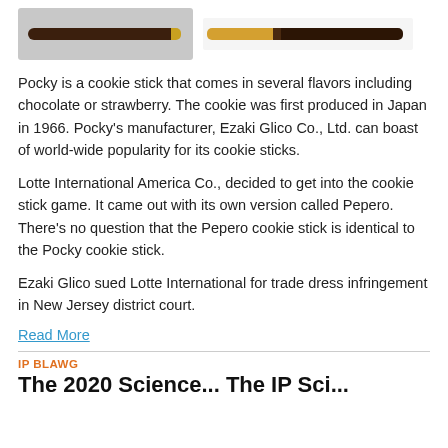[Figure (photo): Two cookie sticks (Pocky/Pepero): left image shows a dark chocolate-coated stick with a small gold/yellow uncoated end on a gray background; right image shows a similar stick with a larger golden/tan uncoated end on a white background.]
Pocky is a cookie stick that comes in several flavors including chocolate or strawberry. The cookie was first produced in Japan in 1966. Pocky's manufacturer, Ezaki Glico Co., Ltd. can boast of world-wide popularity for its cookie sticks.
Lotte International America Co., decided to get into the cookie stick game. It came out with its own version called Pepero. There's no question that the Pepero cookie stick is identical to the Pocky cookie stick.
Ezaki Glico sued Lotte International for trade dress infringement in New Jersey district court.
Read More
IP BLAWG
The 2020 Science... The IP Sci... Hall f...